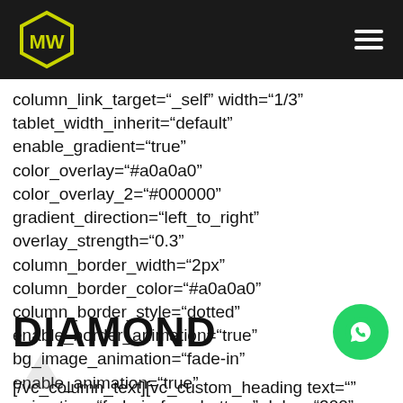MW logo and hamburger menu
column_link_target="_self" width="1/3" tablet_width_inherit="default" enable_gradient="true" color_overlay="#a0a0a0" color_overlay_2="#000000" gradient_direction="left_to_right" overlay_strength="0.3" column_border_width="2px" column_border_color="#a0a0a0" column_border_style="dotted" enable_border_animation="true" bg_image_animation="fade-in" enable_animation="true" animation="fade-in-from-bottom" delay="200" border_animation_delay="200"][vc_column_text css=".vc_custom_1595618972519{margin-bottom: 5px !important;}"]
DIAMOND
[/vc_column_text][vc_custom_heading text=""